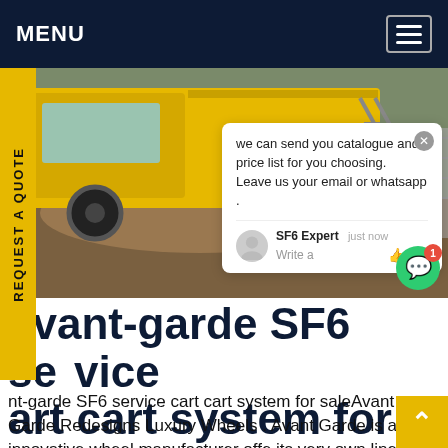MENU
[Figure (photo): Yellow truck on a construction/excavation site with dirt mounds and green patches visible. A chat popup overlay is present on the right side of the image showing a message from SF6 Expert: 'we can send you catalogue and price list for you choosing. Leave us your email or whatsapp .']
avant-garde SF6 service cart system for sale
nt-garde SF6 service cart cart system for saleAvant Garde Redesigns Luxury Wheels . Avant Garde is an innovative wheel manufacturer offe its very own line of luxury rims. Designed to enhance